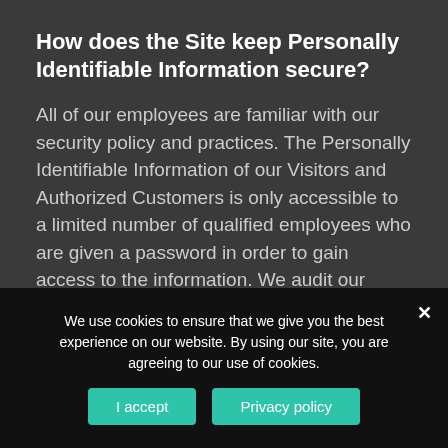How does the Site keep Personally Identifiable Information secure?
All of our employees are familiar with our security policy and practices. The Personally Identifiable Information of our Visitors and Authorized Customers is only accessible to a limited number of qualified employees who are given a password in order to gain access to the information. We audit our security
We use cookies to ensure that we give you the best experience on our website. By using our site, you are agreeing to our use of cookies.